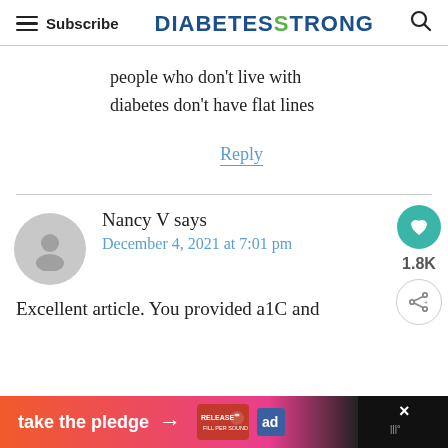Subscribe | DIABETESTRONG
people who don't live with diabetes don't have flat lines
Reply
Nancy V says
December 4, 2021 at 7:01 pm
Excellent article. You provided a1C and